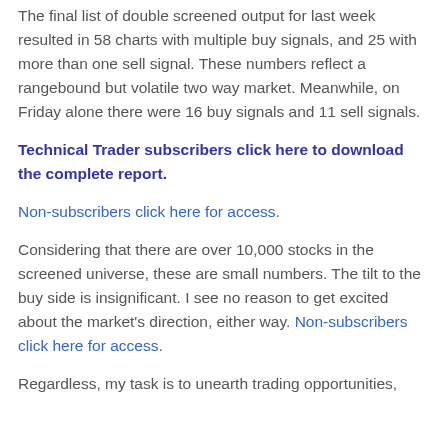The final list of double screened output for last week resulted in 58 charts with multiple buy signals, and 25 with more than one sell signal. These numbers reflect a rangebound but volatile two way market. Meanwhile, on Friday alone there were 16 buy signals and 11 sell signals.
Technical Trader subscribers click here to download the complete report.
Non-subscribers click here for access.
Considering that there are over 10,000 stocks in the screened universe, these are small numbers. The tilt to the buy side is insignificant. I see no reason to get excited about the market's direction, either way. Non-subscribers click here for access.
Regardless, my task is to unearth trading opportunities,